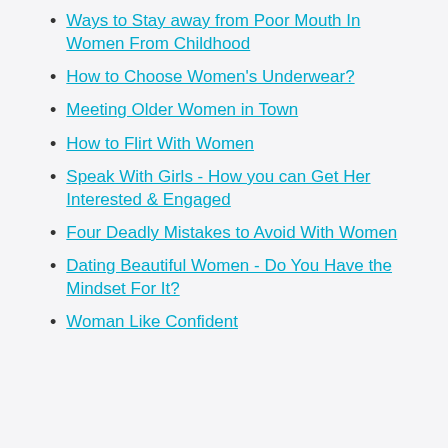Ways to Stay away from Poor Mouth In Women From Childhood
How to Choose Women's Underwear?
Meeting Older Women in Town
How to Flirt With Women
Speak With Girls - How you can Get Her Interested & Engaged
Four Deadly Mistakes to Avoid With Women
Dating Beautiful Women - Do You Have the Mindset For It?
Woman Like Confident